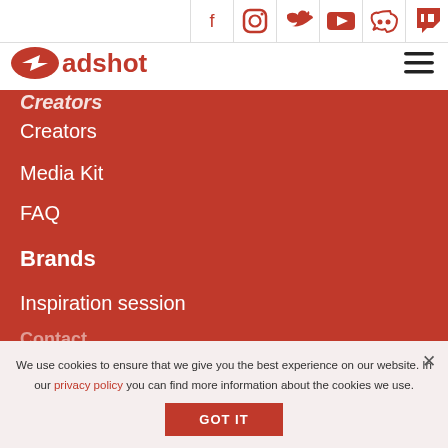[Figure (other): Social media icon bar with Facebook, Instagram, Twitter, YouTube, Discord, Twitch icons in red]
[Figure (logo): Adshot logo - red oval with white arrow and red text 'adshot']
[Figure (other): Hamburger menu icon (three horizontal lines)]
Creators
Creators
Media Kit
FAQ
Brands
Inspiration session
We use cookies to ensure that we give you the best experience on our website. In our privacy policy you can find more information about the cookies we use.
GOT IT
Contact